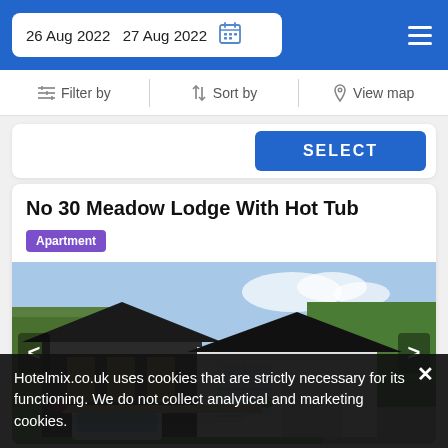26 Aug 2022  27 Aug 2022
Filter by  Sort by  View map
SELECT
No 30 Meadow Lodge With Hot Tub
Apartment
[Figure (photo): Modern two-tone lodge building with dark and white exterior, pitched roof, large windows, and trees in background]
Hotelmix.co.uk uses cookies that are strictly necessary for its functioning. We do not collect analytical and marketing cookies.